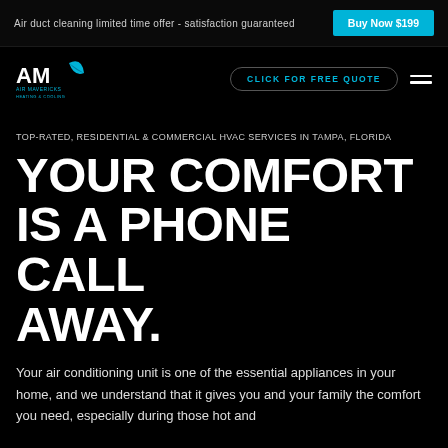Air duct cleaning limited time offer - satisfaction guaranteed
Buy Now $199
[Figure (logo): Air Mavericks Heating & Cooling logo with AM initials and blue leaf/wing graphic]
CLICK FOR FREE QUOTE
TOP-RATED, RESIDENTIAL & COMMERCIAL HVAC SERVICES IN TAMPA, FLORIDA
YOUR COMFORT IS A PHONE CALL AWAY.
Your air conditioning unit is one of the essential appliances in your home, and we understand that it gives you and your family the comfort you need, especially during those hot and